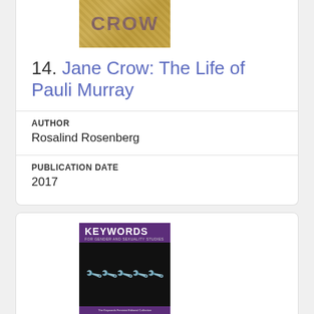[Figure (photo): Top portion of book cover for Jane Crow showing 'CROW' text in purple/navy on gold background]
14. Jane Crow: The Life of Pauli Murray
AUTHOR
Rosalind Rosenberg
PUBLICATION DATE
2017
[Figure (photo): Book cover for Keywords for Gender and Sexuality Studies - purple and black cover with wrenches image]